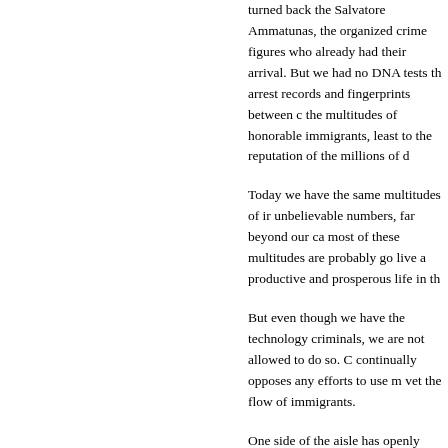turned back the Salvatore Ammatunas, the organized crime figures who already had criminal records before their arrival. But we had no DNA tests then. We could share arrest records and fingerprints between countries to protect the multitudes of honorable immigrants, and to do damage at least to the reputation of the millions of decent people.
Today we have the same multitudes of immigrants in unbelievable numbers, far beyond our capacity to absorb. But most of these multitudes are probably good people who want to live a productive and prosperous life in this country.
But even though we have the technology to weed out criminals, we are not allowed to do so. One side of the aisle continually opposes any efforts to use modern technology to vet the flow of immigrants.
One side of the aisle has openly declared that the flow of all people, from healthy to criminal, must be unimpeded by our nation's government. They want to admit everyone into the United States, whether they believe in the American Way or hate it, whether they come to plunder and destroy.
So it is that today, inexcusably, our cities are more violent, even more destructive, eve...